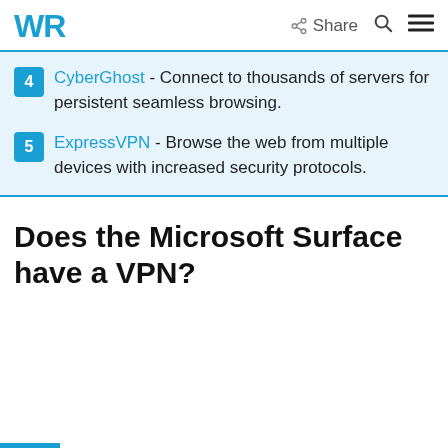WR  Share  [search] [menu]
4  CyberGhost - Connect to thousands of servers for persistent seamless browsing.
5  ExpressVPN - Browse the web from multiple devices with increased security protocols.
Does the Microsoft Surface have a VPN?